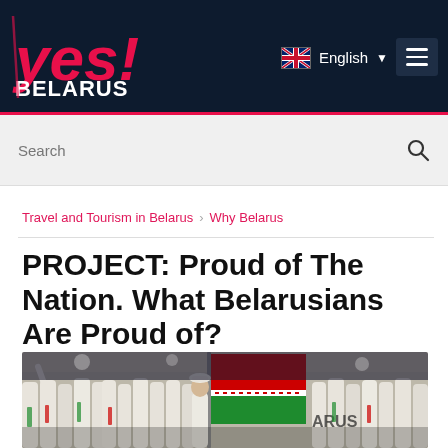yes!BELARUS | English
Search
Travel and Tourism in Belarus › Why Belarus
PROJECT: Proud of The Nation. What Belarusians Are Proud of?
[Figure (photo): Belarus Olympic team marching in white suits carrying the Belarusian flag (red-green with white ornament pattern) at an Olympic ceremony. Many athletes visible in crowd behind the flag bearer.]